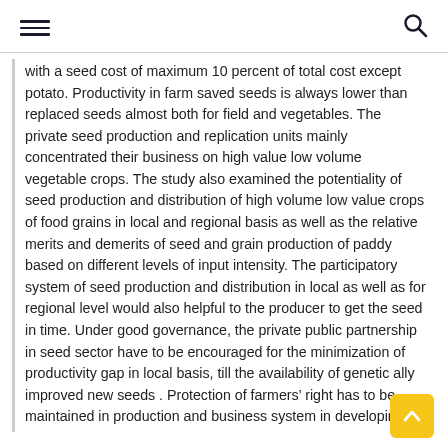[hamburger menu] [search icon]
with a seed cost of maximum 10 percent of total cost except potato. Productivity in farm saved seeds is always lower than replaced seeds almost both for field and vegetables. The private seed production and replication units mainly concentrated their business on high value low volume vegetable crops. The study also examined the potentiality of seed production and distribution of high volume low value crops of food grains in local and regional basis as well as the relative merits and demerits of seed and grain production of paddy based on different levels of input intensity. The participatory system of seed production and distribution in local as well as for regional level would also helpful to the producer to get the seed in time. Under good governance, the private public partnership in seed sector have to be encouraged for the minimization of productivity gap in local basis, till the availability of genetic ally improved new seeds . Protection of farmers’ right has to be maintained in production and business system in developing